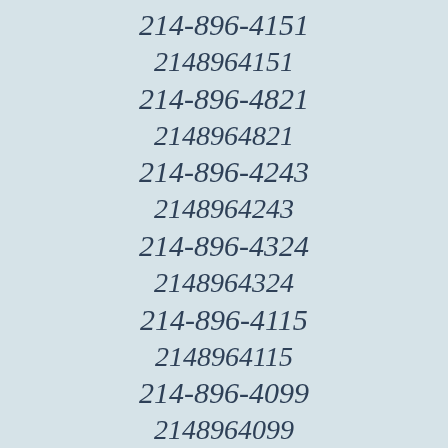214-896-4151
2148964151
214-896-4821
2148964821
214-896-4243
2148964243
214-896-4324
2148964324
214-896-4115
2148964115
214-896-4099
2148964099
214-896-4141
2148964141
214-896-4279
2148964279